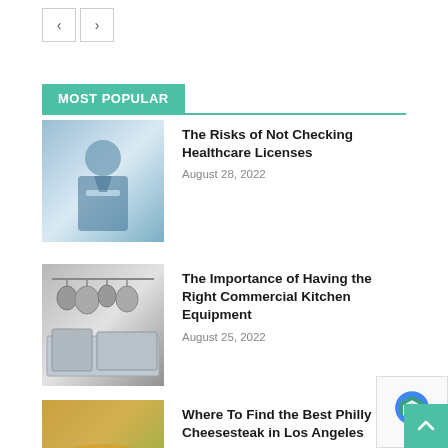[Figure (other): Navigation arrows (left and right) at top of page]
MOST POPULAR
[Figure (photo): Healthcare worker in blue scrubs holding a tablet in a clinical setting]
The Risks of Not Checking Healthcare Licenses
August 28, 2022
[Figure (photo): Commercial kitchen equipment including pots, pans hanging and stainless steel appliances]
The Importance of Having the Right Commercial Kitchen Equipment
August 25, 2022
[Figure (photo): Philly cheesesteak sandwiches with toppings]
Where To Find the Best Philly Cheesesteak in Los Angeles
August 25, 2022